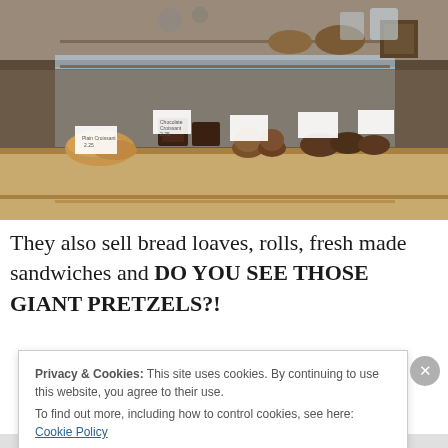[Figure (photo): Interior of a bakery with a glass display counter showing various baked goods including croissants, muffins, brownies, scones, and bread loaves. Small price cards label each item. The counter is wood and glass with multiple shelves.]
They also sell bread loaves, rolls, fresh made sandwiches and DO YOU SEE THOSE GIANT PRETZELS?!
Privacy & Cookies: This site uses cookies. By continuing to use this website, you agree to their use.
To find out more, including how to control cookies, see here: Cookie Policy
Close and accept